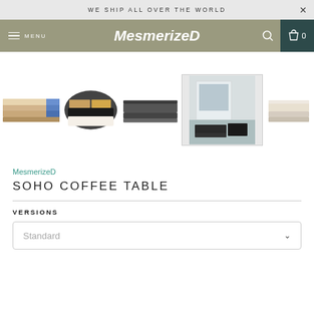WE SHIP ALL OVER THE WORLD
MesmerizeD MENU
[Figure (photo): Five product thumbnail images of the Soho Coffee Table in various configurations and color finishes, including a room lifestyle shot.]
MesmerizeD
SOHO COFFEE TABLE
VERSIONS
Standard